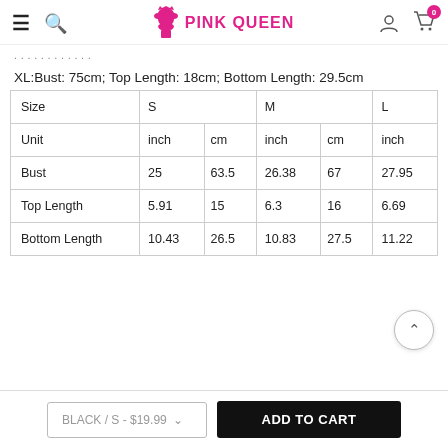PINK QUEEN
XL:Bust: 75cm; Top Length: 18cm; Bottom Length: 29.5cm
| Size | S |  | M |  | L |  |
| --- | --- | --- | --- | --- | --- | --- |
| Unit | inch | cm | inch | cm | inch |  |
| Bust | 25 | 63.5 | 26.38 | 67 | 27.95 |  |
| Top Length | 5.91 | 15 | 6.3 | 16 | 6.69 |  |
| Bottom Length | 10.43 | 26.5 | 10.83 | 27.5 | 11.22 |  |
BLACK / S - $19.99
ADD TO CART